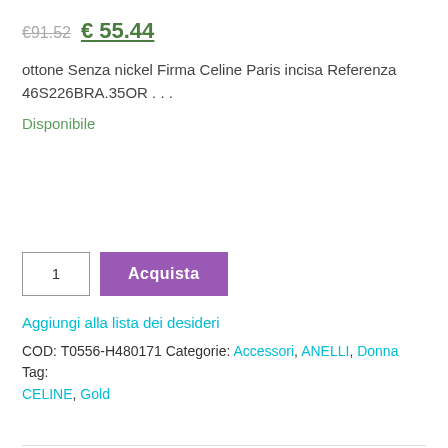€91.52 € 55.44
ottone Senza nickel Firma Celine Paris incisa Referenza  46S226BRA.35OR . . .
Disponibile
1
Acquista
Aggiungi alla lista dei desideri
COD: T0556-H480171 Categorie: Accessori, ANELLI, Donna Tag: CELINE, Gold